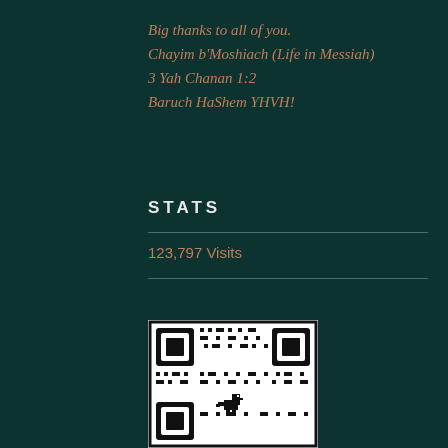Big thanks to all of you.
Chayim b'Moshiach (Life in Messiah)
3 Yah Chanan 1:2
Baruch HaShem YHVH!
STATS
123,797 Visits
[Figure (other): QR code with a small dinosaur logo in the center, black and white pattern on white background with black border.]